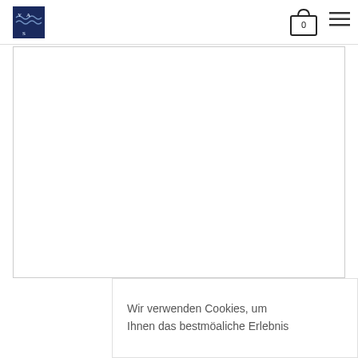[Figure (logo): YAS logo with wave motif, dark navy blue background with letters Y, A, S]
[Figure (other): Shopping bag icon with number 0 inside]
[Figure (other): Hamburger menu icon (three horizontal lines)]
[Figure (other): Large white content area with thin border, product image placeholder]
Wir verwenden Cookies, um Ihnen das bestmögliche Erlebnis